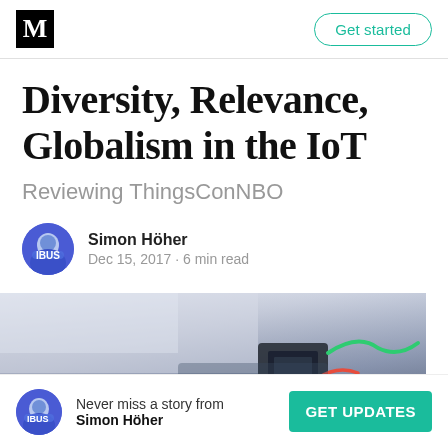M | Get started
Diversity, Relevance, Globalism in the IoT
Reviewing ThingsConNBO
Simon Höher
Dec 15, 2017 · 6 min read
[Figure (photo): Photo of electronics/IoT hardware on a white surface, showing wires (red and green), a dark electronic module, blurred background]
Never miss a story from Simon Höher